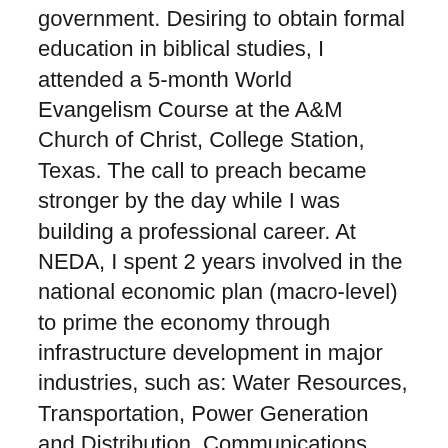government. Desiring to obtain formal education in biblical studies, I attended a 5-month World Evangelism Course at the A&M Church of Christ, College Station, Texas. The call to preach became stronger by the day while I was building a professional career. At NEDA, I spent 2 years involved in the national economic plan (macro-level) to prime the economy through infrastructure development in major industries, such as: Water Resources, Transportation, Power Generation and Distribution, Communications, Mining, Shipbuilding and Agriculture. Though I only had basic technical training for such a gargantuan task, I still saw myself as a vital part of the whole machinery that would spearhead and realize the promise to make the country great again. From all views, it was indeed a grand and viable blueprint to achieve that noble goal. I felt thrilled and honored to be part of it. And indeed, we saw with our own eyes the visible, initial successes of the plan through the infrastructure that mushroomed and that still function